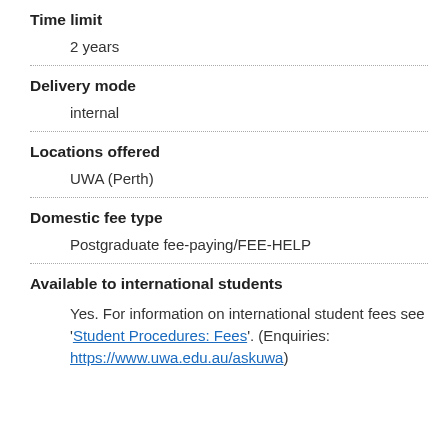Time limit
2 years
Delivery mode
internal
Locations offered
UWA (Perth)
Domestic fee type
Postgraduate fee-paying/FEE-HELP
Available to international students
Yes. For information on international student fees see 'Student Procedures: Fees'. (Enquiries: https://www.uwa.edu.au/askuwa)